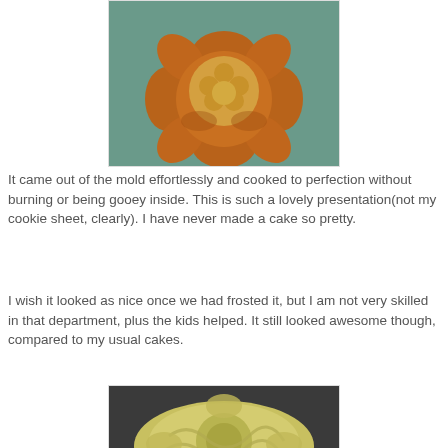[Figure (photo): A flower-shaped bread/cake fresh from the mold, golden-brown baked color, on a teal/green surface]
It came out of the mold effortlessly and cooked to perfection without burning or being gooey inside. This is such a lovely presentation(not my cookie sheet, clearly). I have never made a cake so pretty.
I wish it looked as nice once we had frosted it, but I am not very skilled in that department, plus the kids helped. It still looked awesome though, compared to my usual cakes.
[Figure (photo): The same flower-shaped cake now covered in pale yellow/green frosting, viewed from above, on a dark baking sheet]